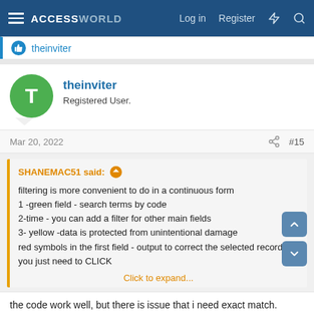ACCESS WORLD  Log in  Register
theinviter
theinviter
Registered User.
Mar 20, 2022  #15
SHANEMAC51 said:
filtering is more convenient to do in a continuous form
1 -green field - search terms by code
2-time - you can add a filter for other main fields
3- yellow -data is protected from unintentional damage
red symbols in the first field - output to correct the selected record, you just need to CLICK
Click to expand...
the code work well, but there is issue that i need exact match. for example if i search for "med12" then it will show all items